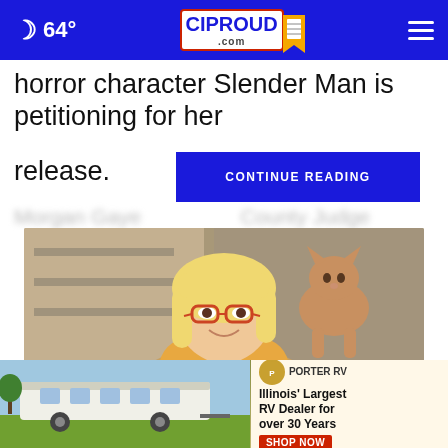☾ 64° | CIPROUD.com
horror character Slender Man is petitioning for her release.
CONTINUE READING
Morgan Gaye... ...County Judge
[Figure (photo): Woman with blonde hair and red glasses smiling, with a sphinx cat perched on her shoulder]
[Figure (infographic): Advertisement banner showing an RV trailer with text: Illinois' Largest RV Dealer for over 30 Years, SHOP NOW, with Porter RV logo]